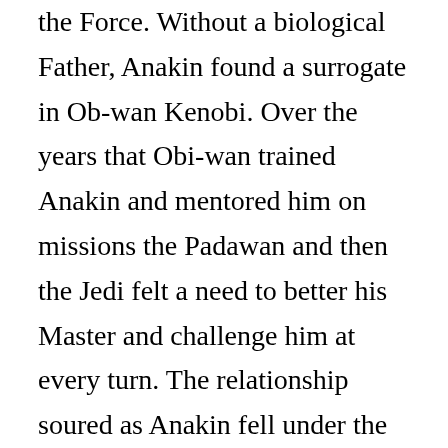the Force. Without a biological Father, Anakin found a surrogate in Ob-wan Kenobi. Over the years that Obi-wan trained Anakin and mentored him on missions the Padawan and then the Jedi felt a need to better his Master and challenge him at every turn. The relationship soured as Anakin fell under the influence of Palpatine and this led to confrontation. Obi-wan Kenobi prevailed against Anakin on Mustafar condemning him to a life of regret and Anakin a life of hell. Decades later on the Death Star, Obi-wan surrendered to his fate and became